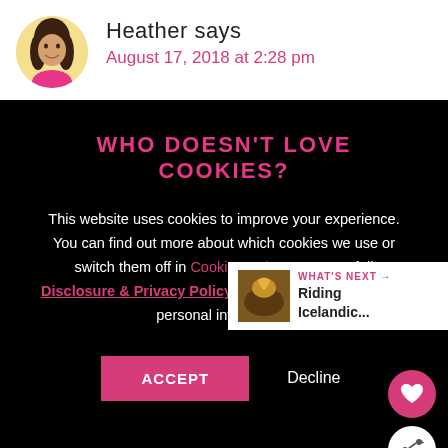[Figure (photo): Circular avatar photo of a woman with dark hair, smiling, wearing pink]
Heather says
August 17, 2018 at 2:28 pm
WHO DOESN'T LOVE COOKIES?
This website uses cookies to improve your experience. You can find out more about which cookies we use or switch them off in Cookie Settings. See our full Disclosure & Privacy Policy. ☐ Please do not sell my personal information.
ACCEPT   Decline
Reply
WHAT'S NEXT → Riding Icelandic...
[Figure (photo): Small thumbnail of Icelandic horse scene]
[Figure (infographic): Bottom ad banner: take the pledge → RELEASE ad logo]
take the pledge →